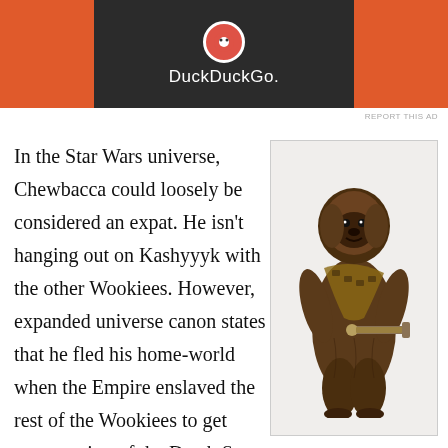[Figure (screenshot): DuckDuckGo advertisement banner with orange background and dark center panel showing the DuckDuckGo logo and name]
REPORT THIS AD
[Figure (photo): Chewbacca character from Star Wars, a large furry Wookiee holding a bowcaster weapon, shown full-body against white background]
In the Star Wars universe, Chewbacca could loosely be considered an expat. He isn't hanging out on Kashyyyk with the other Wookiees. However, expanded universe canon states that he fled his home-world when the Empire enslaved the rest of the Wookiees to get construction of the Death Star back on schedule. This